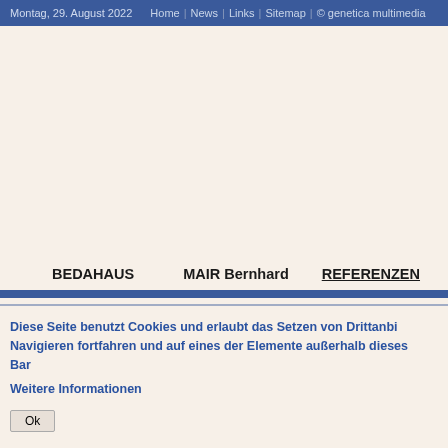Montag, 29. August 2022   Home  |  News  |  Links  |  Sitemap  |  © genetica multimedia
BEDAHAUS        MAIR Bernhard        REFERENZEN
Diese Seite benutzt Cookies und erlaubt das Setzen von Drittanbi… Navigieren fortfahren und auf eines der Elemente außerhalb dieses Ban…
Weitere Informationen
Ok